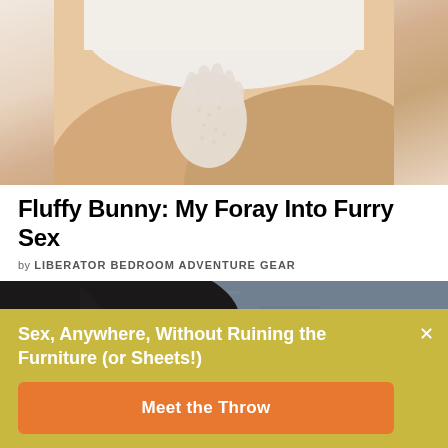[Figure (photo): Close-up photo of a person wearing white lace gloves, posed on thighs against a white background]
Fluffy Bunny: My Foray Into Furry Sex
by LIBERATOR BEDROOM ADVENTURE GEAR
[Figure (photo): Portrait photo of a dark-haired woman with dramatic makeup looking at camera, against a textured grey/blue background]
Sex, Anywhere, Without Ruining the Furniture (or Sheets!)
Meet the Throw